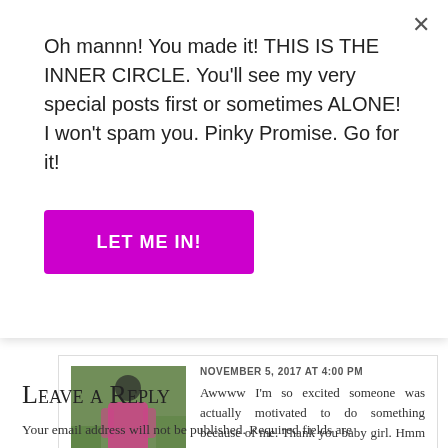Oh mannn! You made it! THIS IS THE INNER CIRCLE. You'll see my very special posts first or sometimes ALONE! I won't spam you. Pinky Promise. Go for it!
[Figure (other): Purple button labeled LET ME IN!]
[Figure (photo): Avatar photo of a person outdoors]
NOVEMBER 5, 2017 AT 4:00 PM
Awwww I'm so excited someone was actually motivated to do something because of me. Thank you baby girl. Hmm I will work on this water of a thing ehn. And thank you for praying for my posting lol. I really hope it comes to pass. Have a great month boo
Like
Leave a Reply
Your email address will not be published. Required fields are